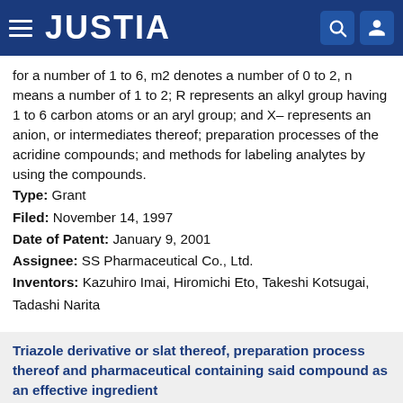JUSTIA
for a number of 1 to 6, m2 denotes a number of 0 to 2, n means a number of 1 to 2; R represents an alkyl group having 1 to 6 carbon atoms or an aryl group; and X− represents an anion, or intermediates thereof; preparation processes of the acridine compounds; and methods for labeling analytes by using the compounds.
Type: Grant
Filed: November 14, 1997
Date of Patent: January 9, 2001
Assignee: SS Pharmaceutical Co., Ltd.
Inventors: Kazuhiro Imai, Hiromichi Eto, Takeshi Kotsugai, Tadashi Narita
Triazole derivative or slat thereof, preparation process thereof and pharmaceutical containing said compound as an effective ingredient
Patent number: 6172266